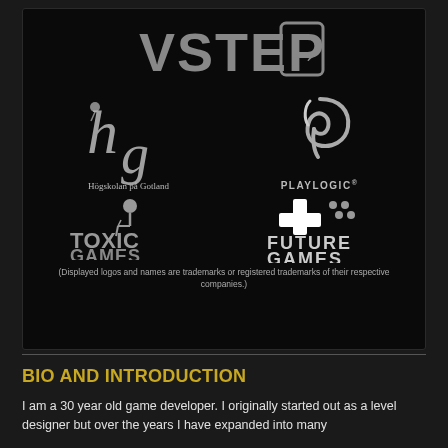[Figure (logo): VSTEP logo with arrow in grey on black background]
[Figure (logo): Högskolan på Gotland logo - decorative hg monogram with text below]
[Figure (logo): Playlogic logo - curled ribbon P shape with text PLAYLOGIC with registered trademark]
[Figure (logo): Toxic Games logo - stylized plant/mic icon with text TOXIC GAMES]
[Figure (logo): Future Games logo - white plus and dots icon with text FUTURE GAMES]
(Displayed logos and names are trademarks or registered trademarks of their respective companies.)
BIO AND INTRODUCTION
I am a 30 year old game developer. I originally started out as a level designer but over the years I have expanded into many